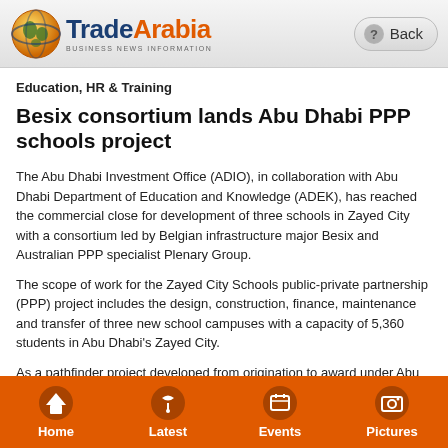TradeArabia BUSINESS NEWS INFORMATION | Back
Education, HR & Training
Besix consortium lands Abu Dhabi PPP schools project
The Abu Dhabi Investment Office (ADIO), in collaboration with Abu Dhabi Department of Education and Knowledge (ADEK), has reached the commercial close for development of three schools in Zayed City with a consortium led by Belgian infrastructure major Besix and Australian PPP specialist Plenary Group.
The scope of work for the Zayed City Schools public-private partnership (PPP) project includes the design, construction, finance, maintenance and transfer of three new school campuses with a capacity of 5,360 students in Abu Dhabi's Zayed City.
As a pathfinder project developed from origination to award under Abu Dhabi's new PPP regulatory framework, it will pave the way for
Home | Latest | Events | Pictures